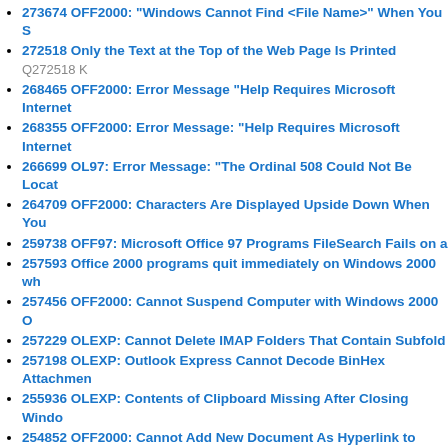273674 OFF2000: "Windows Cannot Find <File Name>" When You S
272518 Only the Text at the Top of the Web Page Is Printed Q272518 K
268465 OFF2000: Error Message "Help Requires Microsoft Internet
268355 OFF2000: Error Message: "Help Requires Microsoft Internet
266699 OL97: Error Message: "The Ordinal 508 Could Not Be Locat
264709 OFF2000: Characters Are Displayed Upside Down When You
259738 OFF97: Microsoft Office 97 Programs FileSearch Fails on a
257593 Office 2000 programs quit immediately on Windows 2000 wh
257456 OFF2000: Cannot Suspend Computer with Windows 2000 O
257229 OLEXP: Cannot Delete IMAP Folders That Contain Subfold
257198 OLEXP: Outlook Express Cannot Decode BinHex Attachmen
255936 OLEXP: Contents of Clipboard Missing After Closing Windo
254852 OFF2000: Cannot Add New Document As Hyperlink to Office - January 27, 2007
254842 OFF2000: Setup Detects Files As Present When They Are Ac
249952 OFF2000: Create New Folder in Save As Dialog Box Is Not A
249946 OFF2000: Office Programs Ignore System Policy to Hide Pla
249945 OFF2000: Office Programs Ignore System Policy to Hide the
249943 OFF2000: Error Message When You Perform a Search on Wi
248861 OFF2000: Program Stops Responding When You Close a Fil
246340 OLEXP: Description of Hotmail Advertising in Outlook Expr